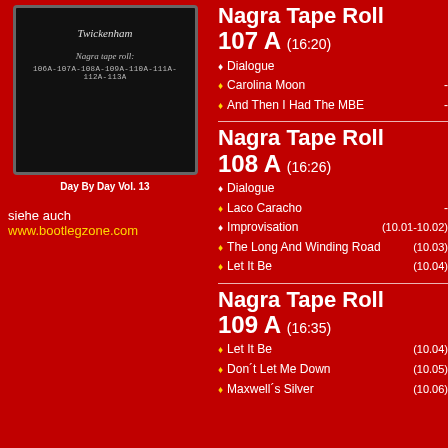[Figure (photo): Black chalkboard/tape label showing handwritten text 'Twickenham', 'Nagra tape roll:', and roll numbers '106A-107A-108A-109A-110A-111A-112A-113A']
Day By Day Vol. 13
siehe auch www.bootlegzone.com
Nagra Tape Roll 107 A (16:20)
Dialogue
Carolina Moon   -
And Then I Had The MBE   -
Nagra Tape Roll 108 A (16:26)
Dialogue
Laco Caracho   -
Improvisation   (10.01-10.02)
The Long And Winding Road   (10.03)
Let It Be   (10.04)
Nagra Tape Roll 109 A (16:35)
Let It Be   (10.04)
Don´t Let Me Down   (10.05)
Maxwell´s Silver   (10.06)